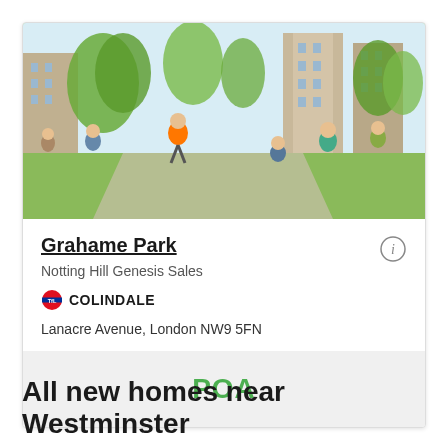[Figure (illustration): Architectural illustration of Grahame Park development showing people walking through a green public space with modern residential buildings and trees in the background]
Grahame Park
Notting Hill Genesis Sales
COLINDALE
Lanacre Avenue, London NW9 5FN
POA
All new homes near Westminster